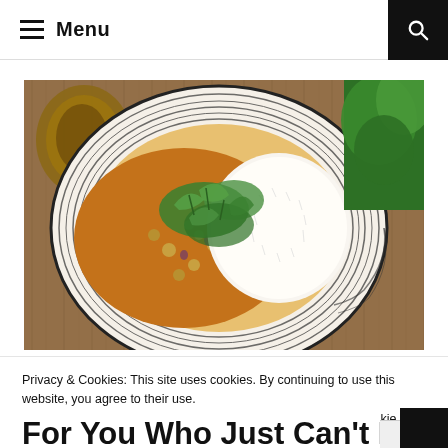≡ Menu
[Figure (photo): Overhead view of a striped ceramic bowl containing lentil curry (dal) with chickpeas, white rice, and fresh cilantro garnish, on a wooden surface with a wooden spoon visible. Lush green herbs in background.]
Privacy & Cookies: This site uses cookies. By continuing to use this website, you agree to their use.
To find out more, including how to control cookies, see here: Cookie Policy
Close and accept
For You Who Just Can't Lunch